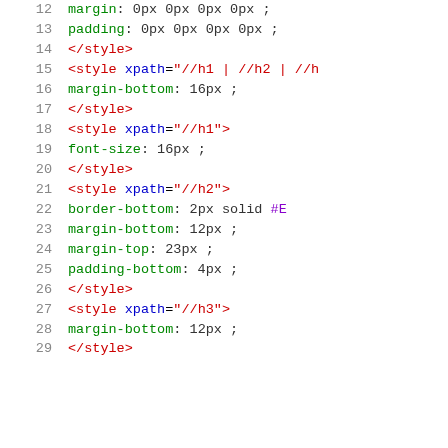Code listing lines 12-29 showing XML style elements with CSS properties
12    margin: 0px 0px 0px 0px ;
13    padding: 0px 0px 0px 0px ;
14  </style>
15  <style xpath="//h1 | //h2 | //h
16    margin-bottom: 16px ;
17  </style>
18  <style xpath="//h1">
19    font-size: 16px ;
20  </style>
21  <style xpath="//h2">
22    border-bottom: 2px solid #E
23    margin-bottom: 12px ;
24    margin-top: 23px ;
25    padding-bottom: 4px ;
26  </style>
27  <style xpath="//h3">
28    margin-bottom: 12px ;
29  </style>